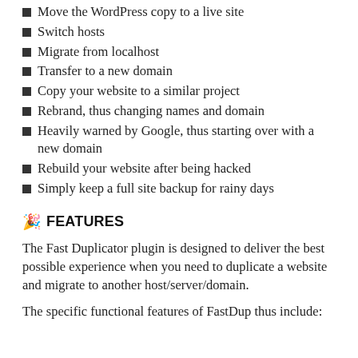Move the WordPress copy to a live site
Switch hosts
Migrate from localhost
Transfer to a new domain
Copy your website to a similar project
Rebrand, thus changing names and domain
Heavily warned by Google, thus starting over with a new domain
Rebuild your website after being hacked
Simply keep a full site backup for rainy days
🎉 FEATURES
The Fast Duplicator plugin is designed to deliver the best possible experience when you need to duplicate a website and migrate to another host/server/domain.
The specific functional features of FastDup thus include: